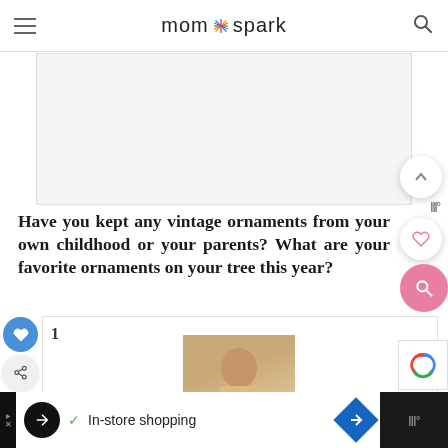mom*spark
[Figure (screenshot): Gray advertisement placeholder block]
Have you kept any vintage ornaments from your own childhood or your parents? What are your favorite ornaments on your tree this year?
[Figure (screenshot): Content section with number 1 and a person photo thumbnail]
[Figure (screenshot): Bottom advertisement bar with In-store shopping text and icons]